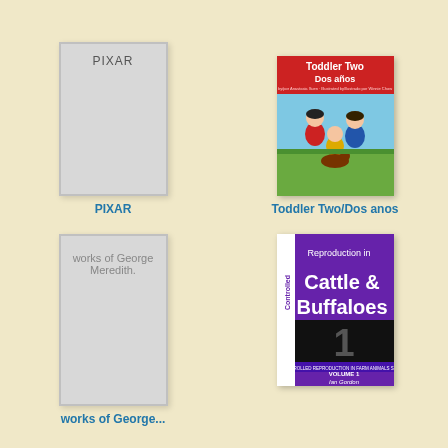[Figure (illustration): Gray placeholder book cover with text 'PIXAR' at top]
PIXAR
[Figure (illustration): Book cover for 'Toddler Two/Dos anos' showing two children playing outdoors, bilingual children's book]
Toddler Two/Dos anos
[Figure (illustration): Gray placeholder book cover with text 'works of George Meredith.']
works of George...
[Figure (illustration): Book cover for 'Controlled Reproduction in Cattle & Buffaloes' Volume 1 by Ian Gordon, purple cover]